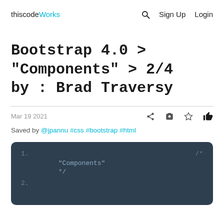thiscodeWorks  Search  Sign Up  Login
Bootstrap 4.0 > "Components" > 2/4 by : Brad Traversy
Mar 19 2021
Saved by @jpannu #css #bootstrap #html
[Figure (screenshot): Dark code editor block showing code snippet with line numbers 1 and 2, containing text '/* "Components" */' on line 1]